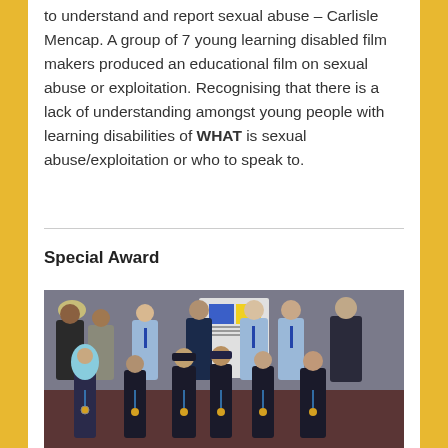to understand and report sexual abuse – Carlisle Mencap. A group of 7 young learning disabled film makers produced an educational film on sexual abuse or exploitation. Recognising that there is a lack of understanding amongst young people with learning disabilities of WHAT is sexual abuse/exploitation or who to speak to.
Special Award
[Figure (photo): Group photo of approximately 11 people including police officers in light blue uniforms with blue ties, civilians in suits, and young people wearing medals and lanyards, posed in two rows in front of a banner with blue and yellow colours.]